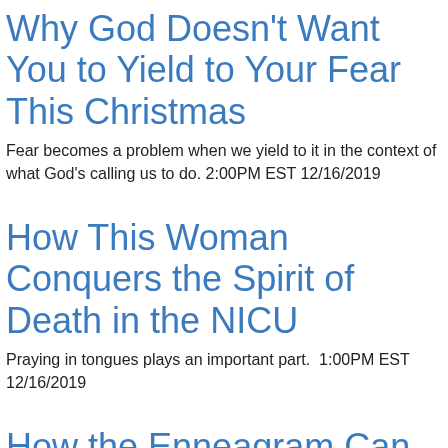Why God Doesn't Want You to Yield to Your Fear This Christmas
Fear becomes a problem when we yield to it in the context of what God's calling us to do. 2:00PM EST 12/16/2019
How This Woman Conquers the Spirit of Death in the NICU
Praying in tongues plays an important part.  1:00PM EST 12/16/2019
How the Enneagram Can